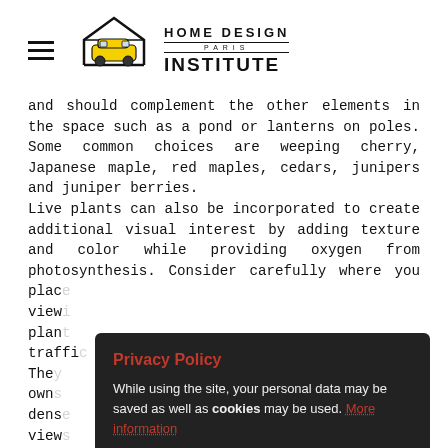HOME DESIGN PARIS INSTITUTE
and should complement the other elements in the space such as a pond or lanterns on poles. Some common choices are weeping cherry, Japanese maple, red maples, cedars, junipers and juniper berries.
Live plants can also be incorporated to create additional visual interest by adding texture and color while providing oxygen from photosynthesis. Consider carefully where you place ... are view... ve plan... ot traffi... The... ur own... a dens... he view... ss shade coverage, but have softer textures that you prefer. If there is an existing tree already in place when designing
[Figure (other): Privacy Policy modal overlay with dark background. Title 'Privacy Policy' in red. Body text: 'While using the site, your personal data may be saved as well as cookies may be used. More information'. Button: 'I agree with the Terms of Use'.]